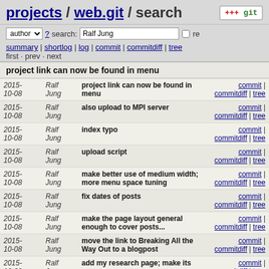projects / web.git / search
author ? search: Ralf Jung re
summary | shortlog | log | commit | commitdiff | tree
first · prev · next
project link can now be found in menu
| Date | Author | Message | Links |
| --- | --- | --- | --- |
| 2015-10-08 | Ralf Jung | project link can now be found in menu | commit | commitdiff | tree |
| 2015-10-08 | Ralf Jung | also upload to MPI server | commit | commitdiff | tree |
| 2015-10-08 | Ralf Jung | index typo | commit | commitdiff | tree |
| 2015-10-08 | Ralf Jung | upload script | commit | commitdiff | tree |
| 2015-10-08 | Ralf Jung | make better use of medium width; more menu space tuning | commit | commitdiff | tree |
| 2015-10-08 | Ralf Jung | fix dates of posts | commit | commitdiff | tree |
| 2015-10-08 | Ralf Jung | make the page layout general enough to cover posts... | commit | commitdiff | tree |
| 2015-10-08 | Ralf Jung | move the link to Breaking All the Way Out to a blogpost | commit | commitdiff | tree |
| 2015-10-08 | Ralf | add my research page; make its | commit | commitdiff | tree |